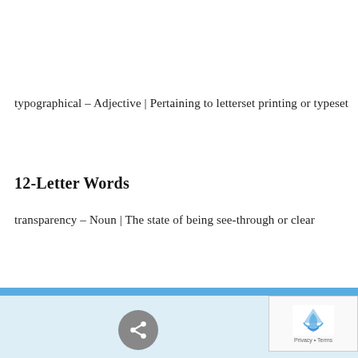typographical – Adjective | Pertaining to letterset printing or typeset
12-Letter Words
transparency – Noun | The state of being see-through or clear